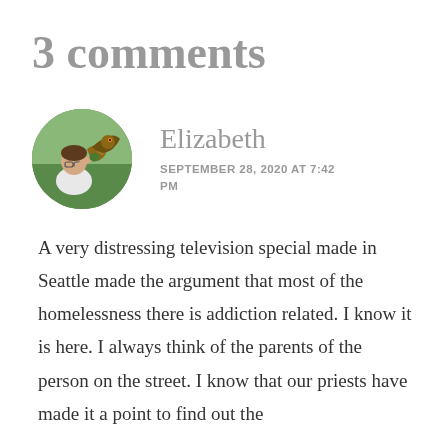3 comments
Elizabeth
SEPTEMBER 28, 2020 AT 7:42 PM
A very distressing television special made in Seattle made the argument that most of the homelessness there is addiction related. I know it is here. I always think of the parents of the person on the street. I know that our priests have made it a point to find out the